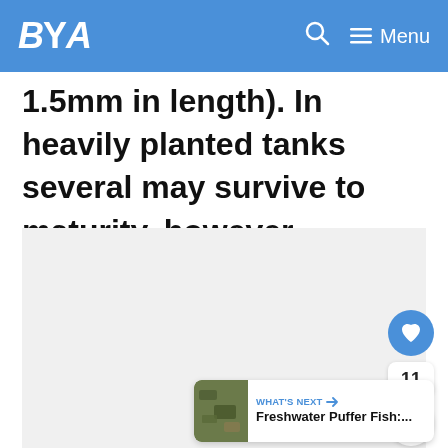BYA
1.5mm in length). In heavily planted tanks several may survive to maturity, however.
[Figure (other): Advertisement or placeholder content block (light gray background)]
11